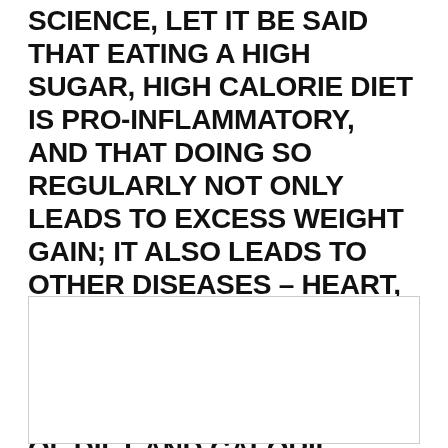SCIENCE, LET IT BE SAID THAT EATING A HIGH SUGAR, HIGH CALORIE DIET IS PRO-INFLAMMATORY, AND THAT DOING SO REGULARLY NOT ONLY LEADS TO EXCESS WEIGHT GAIN; IT ALSO LEADS TO OTHER DISEASES – HEART, OSTEOARTHRITIS, METABOLIC, MAYBE EVEN SOME CANCERS – AND ALL TIES IN ON THE BALANCE OF DIET AND CALORIE BURNING, OR EXERCISE.
[Figure (other): Empty bordered rectangle box, likely placeholder for an image or figure.]